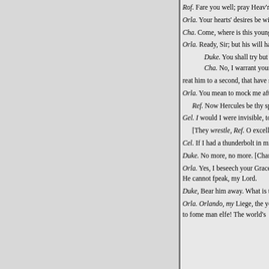Rof. Fare you well; pray Heav'n
Orla. Your hearts' desires be wit
Cha. Come, where is this young
Orla. Ready, Sir; but his will hat
Duke. You shall try but one
Cha. No, I warrant your Gr
reat him to a second, that have s
Orla. You mean to mock me afte
Ref. Now Hercules be thy spe
Gel. I would I were invisible, to
[They wrestle, Ref. O excellen
Cel. If I had a thunderbolt in mi
Duke. No more, no more. [Charl
Orla. Yes, I beseech your Grace; He cannot fpeak, my Lord.
Duke, Bear him away. What is th
Orla. Orlando, my Liege, the yo to fome man elfe! The world's